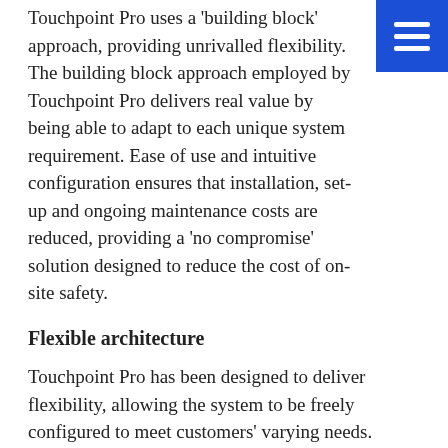Touchpoint Pro uses a 'building block' approach, providing unrivalled flexibility. The building block approach employed by Touchpoint Pro delivers real value by being able to adapt to each unique system requirement. Ease of use and intuitive configuration ensures that installation, set-up and ongoing maintenance costs are reduced, providing a 'no compromise' solution designed to reduce the cost of on-site safety.
Flexible architecture
Touchpoint Pro has been designed to deliver flexibility, allowing the system to be freely configured to meet customers' varying needs. Touchpoint Pro's modularity means that any system topology can be built, including centralised, distributed I/Os, or a mix of both.
24/7 visibility of system status
Touchpoint Pro's central controller has a Webserver interface, which can be accessed when it is connected to a